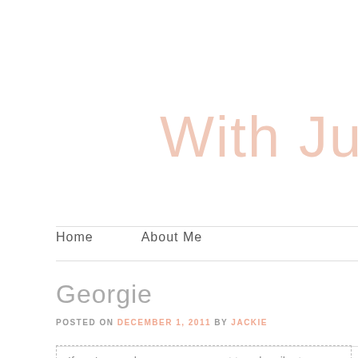With Just
Home   About Me
Georgie
POSTED ON DECEMBER 1, 2011 BY JACKIE
If you're new here, you may want to subscribe to my RSS feed